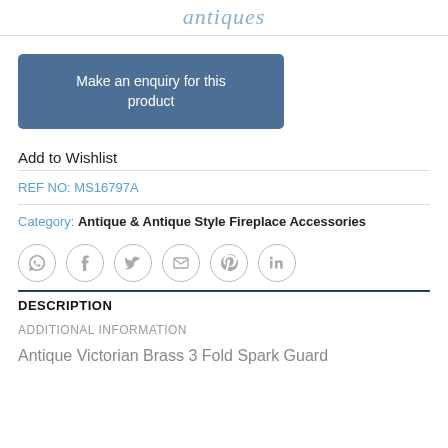antiques
Make an enquiry for this product
Add to Wishlist
REF NO: MS16797A
Category: Antique & Antique Style Fireplace Accessories
[Figure (other): Social sharing icons: WhatsApp, Facebook, Twitter, Email, Pinterest, LinkedIn]
DESCRIPTION
ADDITIONAL INFORMATION
Antique Victorian Brass 3 Fold Spark Guard